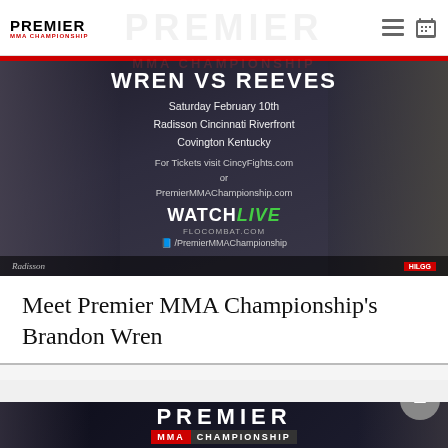PREMIER MMA CHAMPIONSHIP
[Figure (photo): Promotional banner for Premier MMA Championship event: WREN vs REEVES, Saturday February 10th, Radisson Cincinnati Riverfront, Covington Kentucky. For Tickets visit CincyFights.com or PremierMMAChampionship.com. WATCH LIVE FLOCOMBAT.COM /PremierMMAChampionship. Shows two shirtless MMA fighters on left and right sides.]
Meet Premier MMA Championship's Brandon Wren
[Figure (photo): Second Premier MMA Championship banner showing PREMIER MMA CHAMPIONSHIP text with fighters visible on left and right sides, with a circular back-to-top icon on the right.]